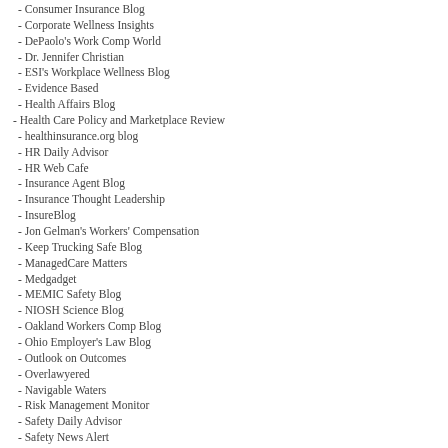- Consumer Insurance Blog
- Corporate Wellness Insights
- DePaolo's Work Comp World
- Dr. Jennifer Christian
- ESI's Workplace Wellness Blog
- Evidence Based
- Health Affairs Blog
- Health Care Policy and Marketplace Review
- healthinsurance.org blog
- HR Daily Advisor
- HR Web Cafe
- Insurance Agent Blog
- Insurance Thought Leadership
- InsureBlog
- Jon Gelman's Workers' Compensation
- Keep Trucking Safe Blog
- ManagedCare Matters
- Medgadget
- MEMIC Safety Blog
- NIOSH Science Blog
- Oakland Workers Comp Blog
- Ohio Employer's Law Blog
- Outlook on Outcomes
- Overlawyered
- Navigable Waters
- Risk Management Monitor
- Safety Daily Advisor
- Safety News Alert
- Specialty Insurance Blog
- Terms + Conditions
- TexasMutual Blog
- The Pump Handle
- The Safety Blog
- Thoughts from a Management Lawyer
- Today's Workplace
- WCI News
- WCRI Blog
- Well Blog
- Work Comp Analysis Group
- Working Immigrants
- Workplaces Prof Blog